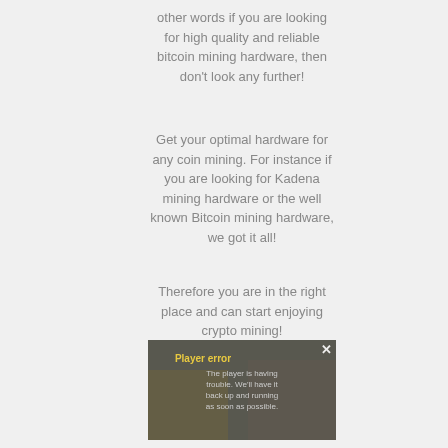other words if you are looking for high quality and reliable bitcoin mining hardware, then don't look any further!
Get your optimal hardware for any coin mining. For instance if you are looking for Kadena mining hardware or the well known Bitcoin mining hardware, we got it all!
Therefore you are in the right place and can start enjoying crypto mining!
[Figure (screenshot): Video player error overlay showing 'Player error' title in yellow and message 'The player is having trouble. We'll have it back up and running as soon as possible.' overlaid on a dark semi-transparent background with two people visible behind it and a close X button in the top right.]